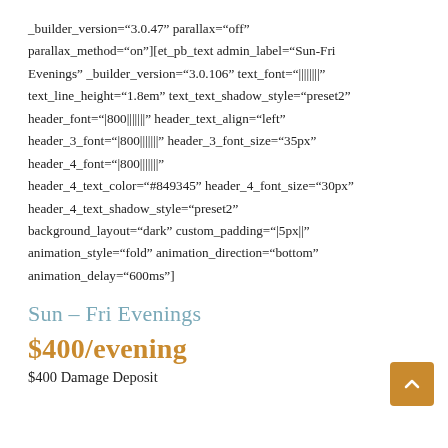_builder_version="3.0.47" parallax="off" parallax_method="on"][et_pb_text admin_label="Sun-Fri Evenings" _builder_version="3.0.106" text_font="||||||||" text_line_height="1.8em" text_text_shadow_style="preset2" header_font="|800||||||" header_text_align="left" header_3_font="|800||||||" header_3_font_size="35px" header_4_font="|800||||||" header_4_text_color="#849345" header_4_font_size="30px" header_4_text_shadow_style="preset2" background_layout="dark" custom_padding="|5px||" animation_style="fold" animation_direction="bottom" animation_delay="600ms"]
Sun – Fri Evenings
$400/evening
$400 Damage Deposit